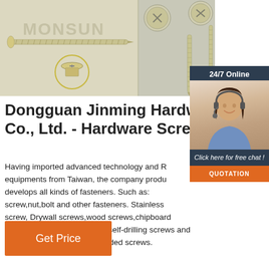[Figure (photo): Product photo showing hardware screws — a long flat-head wood screw horizontally, with head detail circled, and additional screws on the right side. Watermark text MONSUN visible.]
Dongguan Jinming Hardware Co., Ltd. - Hardware Screws
[Figure (photo): Sidebar panel with 24/7 Online label, a female customer service agent with headset, 'Click here for free chat!' text, and a QUOTATION button.]
Having imported advanced technology and R equipments from Taiwan, the company produces and develops all kinds of fasteners. Such as: screw,nut,bolt and other fasteners. Stainless screw, Drywall screws,wood screws,chipboard screws, self-tapping screws, self-drilling screws and machine screws are our branded screws.
Get Price